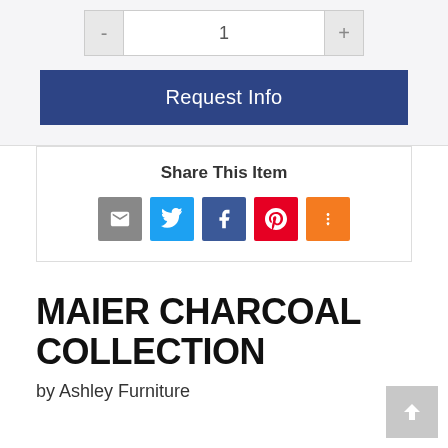[Figure (screenshot): Quantity selector with minus, 1, and plus buttons]
Request Info
Share This Item
[Figure (infographic): Social share icons: email, Twitter, Facebook, Pinterest, More]
MAIER CHARCOAL COLLECTION
by Ashley Furniture